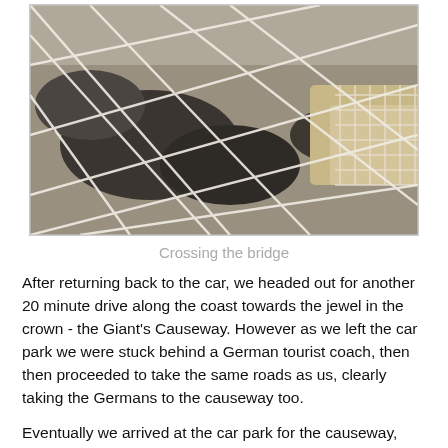[Figure (photo): Photo taken looking down through a rope/wire net bridge or fence, showing rocky ground below and a grid mesh structure visible on the right side.]
Crossing the bridge
After returning back to the car, we headed out for another 20 minute drive along the coast towards the jewel in the crown - the Giant's Causeway. However as we left the car park we were stuck behind a German tourist coach, then then proceeded to take the same roads as us, clearly taking the Germans to the causeway too.
Eventually we arrived at the car park for the causeway, and after taking a look at the visitor's centre, we made our way down the coast to the shore, where we could walk along the causeway itself. The legend of it's creation is that Finn McCool (yes, him again) built a causeway to fight a Scottish giant, destroying it upon his return. In reality it's of volcanic origin (with similar landforms in Iceland amongst others) and these are the last bits to remain above sea